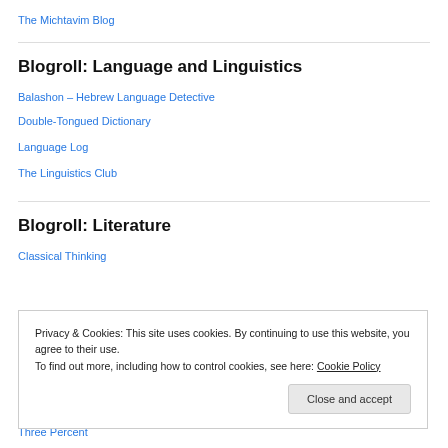The Michtavim Blog
Blogroll: Language and Linguistics
Balashon – Hebrew Language Detective
Double-Tongued Dictionary
Language Log
The Linguistics Club
Blogroll: Literature
Classical Thinking
Privacy & Cookies: This site uses cookies. By continuing to use this website, you agree to their use. To find out more, including how to control cookies, see here: Cookie Policy
Close and accept
Three Percent